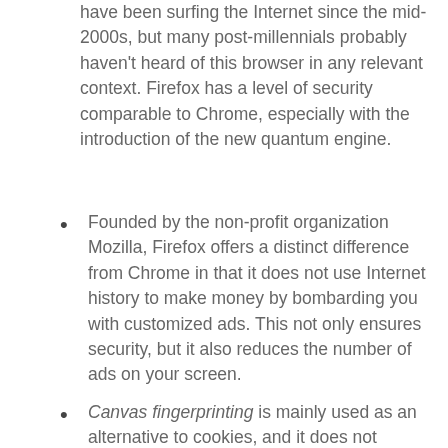have been surfing the Internet since the mid-2000s, but many post-millennials probably haven't heard of this browser in any relevant context. Firefox has a level of security comparable to Chrome, especially with the introduction of the new quantum engine.
Founded by the non-profit organization Mozilla, Firefox offers a distinct difference from Chrome in that it does not use Internet history to make money by bombarding you with customized ads. This not only ensures security, but it also reduces the number of ads on your screen.
Canvas fingerprinting is mainly used as an alternative to cookies, and it does not specifically identify